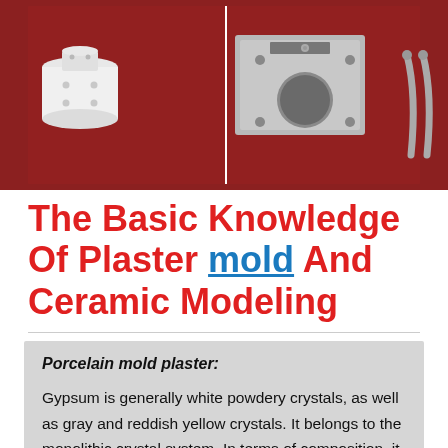[Figure (photo): Photo of ceramic mold pieces and metal mold components on a dark red background. Left: white ceramic cylindrical piece with holes. Center: silver metal mold plate with circular cutout and screw holes. Right: two curved metal rods.]
The Basic Knowledge Of Plaster mold And Ceramic Modeling
Porcelain mold plaster:
Gypsum is generally white powdery crystals, as well as gray and reddish yellow crystals. It belongs to the monolithic crystal system. In terms of composition, it is divided